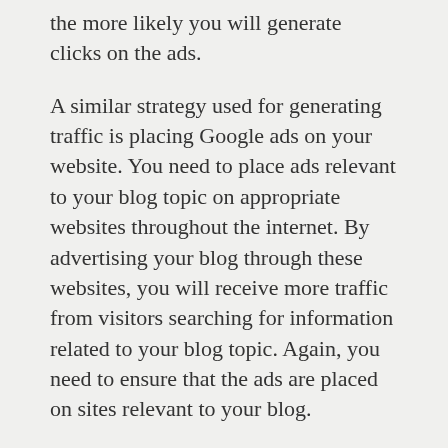the more likely you will generate clicks on the ads.
A similar strategy used for generating traffic is placing Google ads on your website. You need to place ads relevant to your blog topic on appropriate websites throughout the internet. By advertising your blog through these websites, you will receive more traffic from visitors searching for information related to your blog topic. Again, you need to ensure that the ads are placed on sites relevant to your blog.
Another way of generating traffic from paid advertisements is by using Google AdWords. To do this, you should place ads on blog pages. AdWords works very well on pages that are related to your blog. However, you need to ensure that you only use AdWords on blog pages that are truly relevant to your